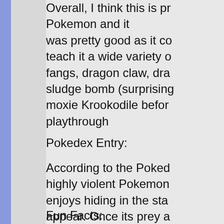Overall, I think this is probably my favorite Pokemon and it was pretty good as it could teach it a wide variety of moves. Poison fangs, dragon claw, dragon... sludge bomb (surprisingly, and moxie Krookodile before playthrough
Pokedex Entry:
According to the Pokedex, Krookodile is a highly violent Pokemon that enjoys hiding in the sand to appear. Once its prey appears, it bites down like an automobile not letting the prey go until it tears it in half.
Fun Facts: